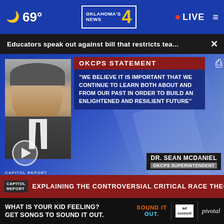🌙 69° | Oklahoma's News 4 | LIVE
Educators speak out against bill that restricts tea... ×
[Figure (screenshot): TV news broadcast screenshot showing OKCPS Statement with quote: "WE BELIEVE IT IS IMPORTANT THAT WE CONTINUE TO LEARN BOTH ABOUT AND FROM OUR PAST IN ORDER TO BUILD AN ENLIGHTENED AND RESILIENT FUTURE" attributed to DR. SEAN MCDANIEL, OKCPS SUPERINTENDENT. Lower ticker reads: EXPLAINING THE CONTROVERSIAL CRITICAL RACE THEORY]
Congressman Frank Lucas talks foreign investors eyeing ... Flash Point • 2 weeks ago
[Figure (infographic): Ad banner: WHAT IS YOUR KID FEELING? GET SONGS TO SOUND IT OUT. Sound It Out | ad council | pivotal]